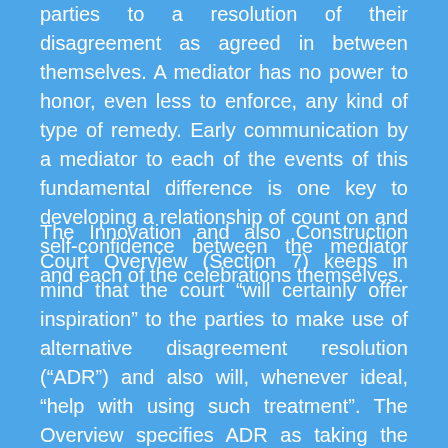parties to a resolution of their disagreement as agreed in between themselves. A mediator has no power to honor, even less to enforce, any kind of type of remedy. Early communication by a mediator to each of the events of this fundamental difference is one key to developing a relationship of count on and self-confidence between the mediator and each of the celebrations themselves.
The Innovation and also Construction Court Overview (Section 7) keeps in mind that the court “will certainly offer inspiration” to the parties to make use of alternative disagreement resolution (“ADR”) and also will, whenever ideal, “help with using such treatment”. The Overview specifies ADR as taking the type “of inter-party arrangements or a mediation performed by a